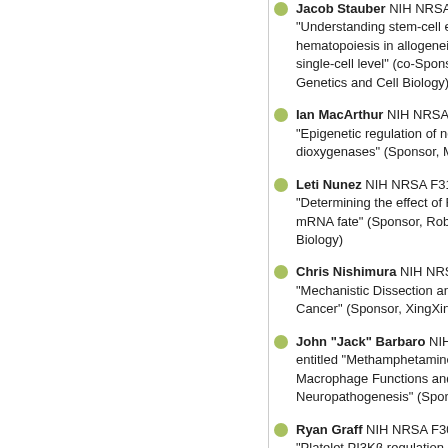Jacob Stauber NIH NRSA F30 "Understanding stem-cell evolution hematopoiesis in allogeneic he single-cell level" (co-Sponsors, Genetics and Cell Biology)
Ian MacArthur NIH NRSA F30 "Epigenetic regulation of neura dioxygenases" (Sponsor, Meel
Leti Nunez NIH NRSA F31 Fe "Determining the effect of RNA mRNA fate" (Sponsor, Robert Biology)
Chris Nishimura NIH NRSA F "Mechanistic Dissection and Th Cancer" (Sponsor, XingXing Z
John "Jack" Barbaro NIH NR entitled "Methamphetamine an Macrophage Functions and Ma Neuropathogenesis" (Sponsor,
Ryan Graff NIH NRSA F30 Fe "Platelet PI3Kβ regulation of m Backer and Anne Bresnick, Mo
Henrietta Bains NIH NRSA F3 "How does mTOR sense lipid i